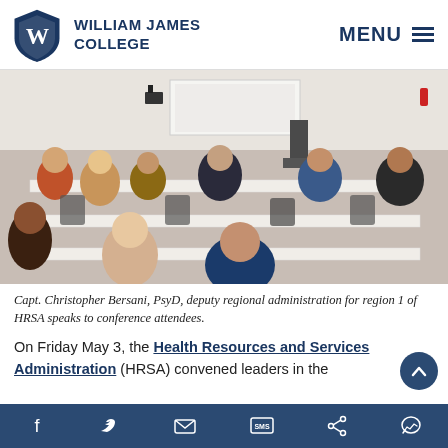William James College | MENU
[Figure (photo): Conference room scene with attendees seated at tables facing a presenter at a podium near a projection screen.]
Capt. Christopher Bersani, PsyD, deputy regional administration for region 1 of HRSA speaks to conference attendees.
On Friday May 3, the Health Resources and Services Administration (HRSA) convened leaders in the
Social share icons: Facebook, Twitter, Email, SMS, Share, Messenger